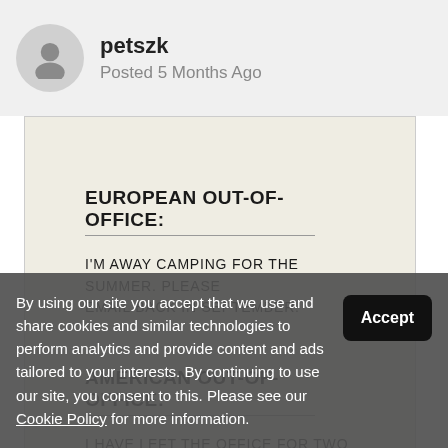petszk — Posted 5 Months Ago
[Figure (screenshot): Beige/cream background image showing two out-of-office email examples: 'EUROPEAN OUT-OF-OFFICE: I'M AWAY CAMPING FOR THE SUMMER. PLEASE EMAIL BACK IN SEPTEMBER.' and 'AMERICAN OUT-OF-OFFICE: I HAVE LEFT THE OFFICE FOR TWO HOURS TO UNDERGO KIDNEY SURGERY BUT YOU CAN REACH...' (text is partially obscured by cookie banner)]
By using our site you accept that we use and share cookies and similar technologies to perform analytics and provide content and ads tailored to your interests. By continuing to use our site, you consent to this. Please see our Cookie Policy for more information.